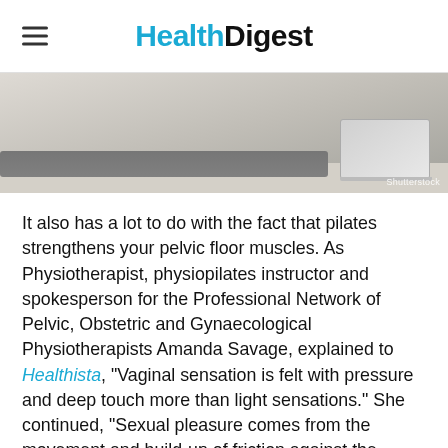Health Digest
[Figure (photo): Person doing pilates on a grey yoga mat with a laptop visible in the background. Shutterstock watermark visible.]
It also has a lot to do with the fact that pilates strengthens your pelvic floor muscles. As Physiotherapist, physiopilates instructor and spokesperson for the Professional Network of Pelvic, Obstetric and Gynaecological Physiotherapists Amanda Savage, explained to Healthista, "Vaginal sensation is felt with pressure and deep touch more than light sensations." She continued, "Sexual pleasure comes from the movement and build-up of friction against the vaginal walls... [which are] are